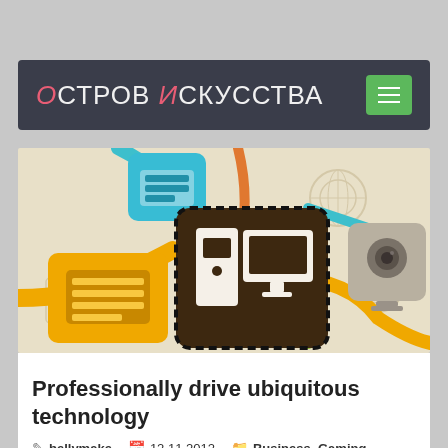Остров Искусства
[Figure (illustration): Technology connectivity infographic showing interconnected icons: keyboard (yellow square), computer/monitor (dark brown square, center), webcam (beige square), connected by colorful lines (teal, orange, yellow, green) on a beige background with faint globe/gear icons]
Professionally drive ubiquitous technology
bellymake  12.11.2012  Business, Gaming  0